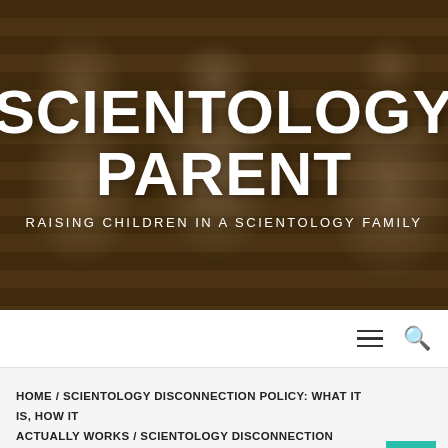[Figure (photo): Family photo showing a laughing man with children on a couch, serving as the hero background image for the Scientology Parent website]
SCIENTOLOGY PARENT
RAISING CHILDREN IN A SCIENTOLOGY FAMILY
☰ 🔍
HOME / SCIENTOLOGY DISCONNECTION POLICY: WHAT IT IS, HOW IT ACTUALLY WORKS / SCIENTOLOGY DISCONNECTION POLICY COMPARED TO OTHER WORLD RELIGIONS